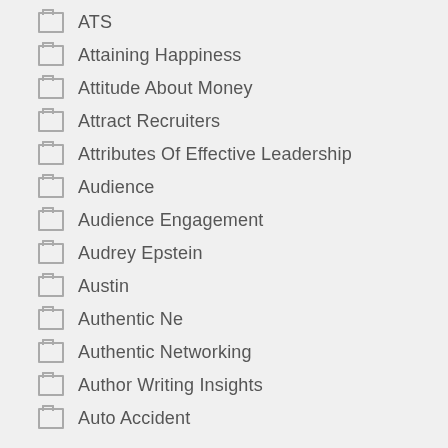ATS
Attaining Happiness
Attitude About Money
Attract Recruiters
Attributes Of Effective Leadership
Audience
Audience Engagement
Audrey Epstein
Austin
Authentic Ne
Authentic Networking
Author Writing Insights
Auto Accident